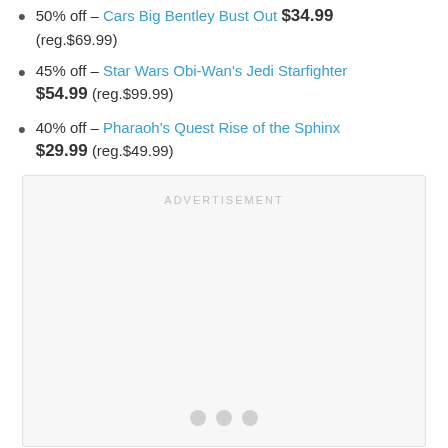50% off – Cars Big Bentley Bust Out $34.99 (reg.$69.99)
45% off – Star Wars Obi-Wan's Jedi Starfighter $54.99 (reg.$99.99)
40% off – Pharaoh's Quest Rise of the Sphinx $29.99 (reg.$49.99)
[Figure (other): Advertisement placeholder box with 'ADVERTISEMENT' label and three pagination dots at the bottom]